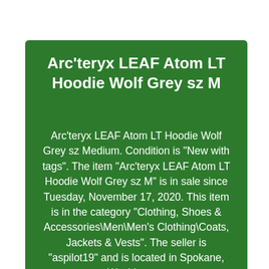Arc'teryx LEAF Atom LT Hoodie Wolf Grey sz M
Arc'teryx LEAF Atom LT Hoodie Wolf Grey sz Medium. Condition is "New with tags". The item "Arc'teryx LEAF Atom LT Hoodie Wolf Grey sz M" is in sale since Tuesday, November 17, 2020. This item is in the category "Clothing, Shoes & Accessories\Men\Men's Clothing\Coats, Jackets & Vests". The seller is "aspilot19" and is located in Spokane, Washington.
This item can be shipped to United States,